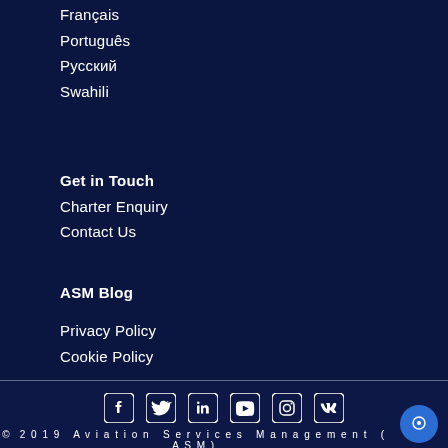Français
Português
Русский
Swahili
Get in Touch
Charter Enquiry
Contact Us
ASM Blog
Privacy Policy
Cookie Policy
[Figure (infographic): Social media icons row: Facebook, Twitter, LinkedIn, YouTube, Instagram, VK]
© 2019 Aviation Services Management (ASM)